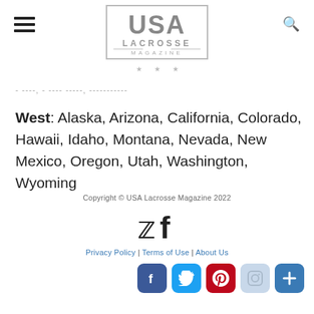USA Lacrosse Magazine
- ----, - ---- -----, -----------
West: Alaska, Arizona, California, Colorado, Hawaii, Idaho, Montana, Nevada, New Mexico, Oregon, Utah, Washington, Wyoming
Copyright © USA Lacrosse Magazine 2022
[Figure (logo): Twitter and Facebook social media icons]
Privacy Policy | Terms of Use | About Us
[Figure (infographic): Row of social media buttons: Facebook (blue), Twitter (light blue), Pinterest (red), Instagram (light blue/grey), Plus/AddThis (blue)]